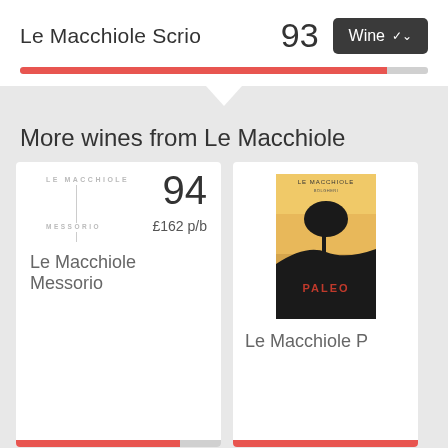Le Macchiole Scrio
93
Wine
More wines from Le Macchiole
94
£162 p/b
Le Macchiole Messorio
[Figure (illustration): Wine bottle label for Le Macchiole Paleo showing a tree silhouette on an orange/amber background with the word PALEO in red]
Le Macchiole P